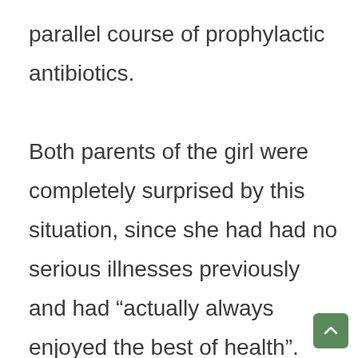parallel course of prophylactic antibiotics. Both parents of the girl were completely surprised by this situation, since she had had no serious illnesses previously and had “actually always enjoyed the best of health”. They asked whether there was a way to get out of this misery without major damage with the help of homeopathy and whether Kim Kira had any chance of living without dialysis: “Is there anything you c